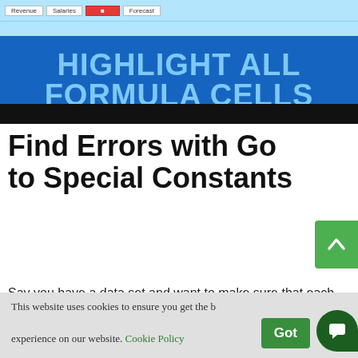[Figure (screenshot): Screenshot of a spreadsheet with highlighted formula cells, with a blue banner reading 'HIGHLIGHT ALL FORMULA CELLS' below it]
Find Errors with Go to Special Constants
Say you have a data set and want to make sure that each column contains what it is supposed to.
This website uses cookies to ensure you get the best experience on our website. Cookie Policy Got